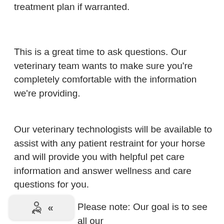treatment plan if warranted.
This is a great time to ask questions. Our veterinary team wants to make sure you're completely comfortable with the information we're providing.
Our veterinary technologists will be available to assist with any patient restraint for your horse and will provide you with helpful pet care information and answer wellness and care questions for you.
Please note: Our goal is to see all our